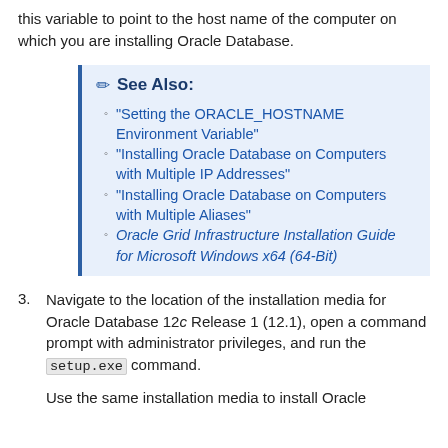this variable to point to the host name of the computer on which you are installing Oracle Database.
See Also:
"Setting the ORACLE_HOSTNAME Environment Variable"
"Installing Oracle Database on Computers with Multiple IP Addresses"
"Installing Oracle Database on Computers with Multiple Aliases"
Oracle Grid Infrastructure Installation Guide for Microsoft Windows x64 (64-Bit)
3. Navigate to the location of the installation media for Oracle Database 12c Release 1 (12.1), open a command prompt with administrator privileges, and run the setup.exe command.
Use the same installation media to install Oracle